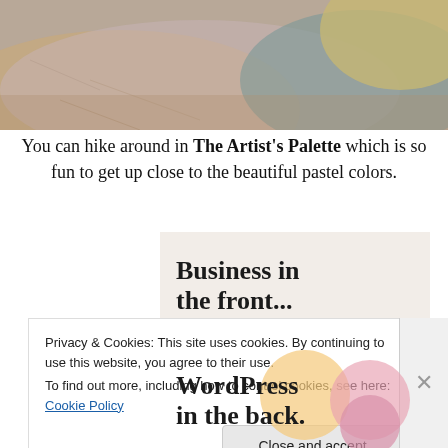[Figure (photo): Aerial or close-up photo of rocky terrain with sandy pink/tan and teal/grey rock formations — Artist's Palette, Death Valley]
You can hike around in The Artist's Palette which is so fun to get up close to the beautiful pastel colors.
[Figure (screenshot): Advertisement screenshot showing 'Business in the front...' on beige background and 'WordPress in the back.' on a colorful gradient background with pastel circles]
Privacy & Cookies: This site uses cookies. By continuing to use this website, you agree to their use.
To find out more, including how to control cookies, see here: Cookie Policy
Close and accept